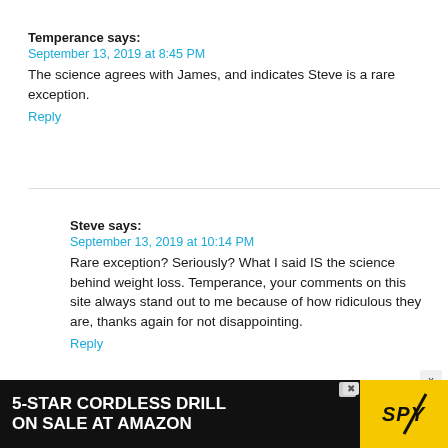Temperance says:
September 13, 2019 at 8:45 PM
The science agrees with James, and indicates Steve is a rare exception.
Reply
Steve says:
September 13, 2019 at 10:14 PM
Rare exception? Seriously? What I said IS the science behind weight loss. Temperance, your comments on this site always stand out to me because of how ridiculous they are, thanks again for not disappointing.
Reply
[Figure (other): Advertisement banner: 5-STAR CORDLESS DRILL ON SALE AT AMAZON with SPY logo on yellow background]